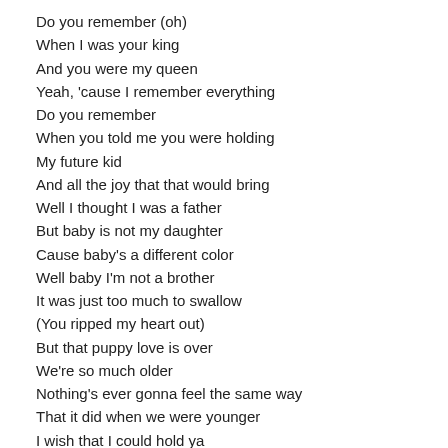Do you remember (oh)
When I was your king
And you were my queen
Yeah, 'cause I remember everything
Do you remember
When you told me you were holding
My future kid
And all the joy that that would bring
Well I thought I was a father
But baby is not my daughter
Cause baby's a different color
Well baby I'm not a brother
It was just too much to swallow
(You ripped my heart out)
But that puppy love is over
We're so much older
Nothing's ever gonna feel the same way
That it did when we were younger
I wish that I could hold ya
But baby, I know that it's over